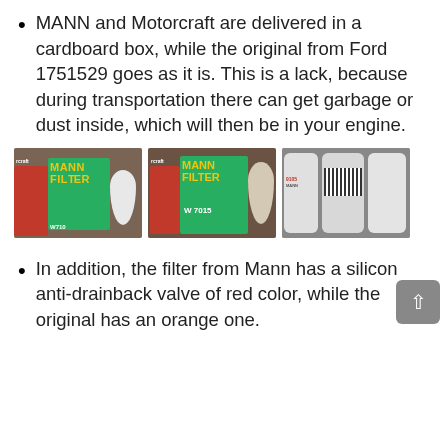MANN and Motorcraft are delivered in a cardboard box, while the original from Ford 1751529 goes as it is. This is a lack, because during transportation there can get garbage or dust inside, which will then be in your engine.
[Figure (photo): Three photos side by side showing Mann Filter and Motorcraft oil filter boxes (red and green packaging) alongside oil filter canisters on a wooden surface.]
In addition, the filter from Mann has a silicon anti-drainback valve of red color, while the original has an orange one.